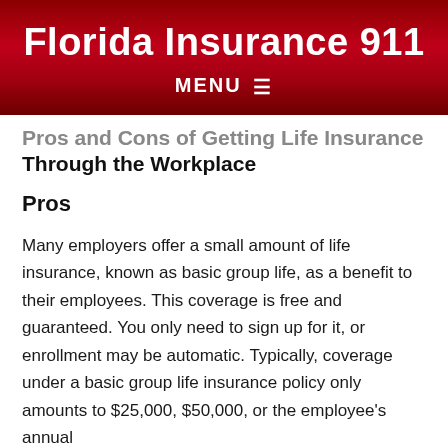Florida Insurance 911
Pros and Cons of Getting Life Insurance Through the Workplace
Pros
Many employers offer a small amount of life insurance, known as basic group life, as a benefit to their employees. This coverage is free and guaranteed. You only need to sign up for it, or enrollment may be automatic. Typically, coverage under a basic group life insurance policy only amounts to $25,000, $50,000, or the employee's annual